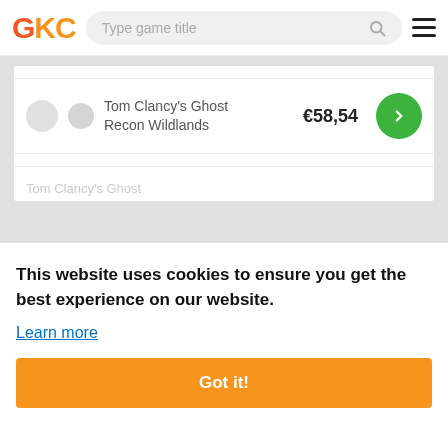[Figure (logo): GKC logo in orange/yellow letters with a search bar and hamburger menu]
[Figure (screenshot): Game listing row: Tom Clancy's Ghost Recon Wildlands priced at €58,54 with a green arrow button]
Tom Clancy's Ghost
This website uses cookies to ensure you get the best experience on our website.
Learn more
Got it!